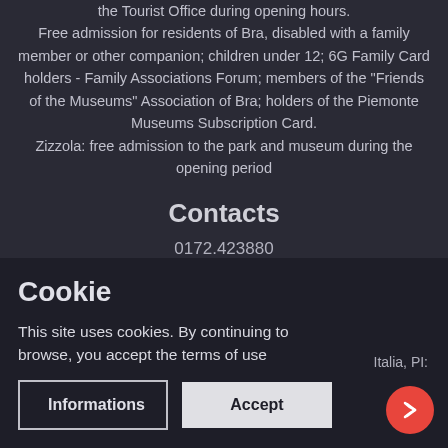the Tourist Office during opening hours. Free admission for residents of Bra, disabled with a family member or other companion; children under 12; 6G Family Card holders - Family Associations Forum; members of the "Friends of the Museums" Association of Bra; holders of the Piemonte Museums Subscription Card. Zizzola: free admission to the park and museum during the opening period
Contacts
0172.423880
Cookie
This site uses cookies. By continuing to browse, you accept the terms of use
Italia, PI:
Informations
Accept